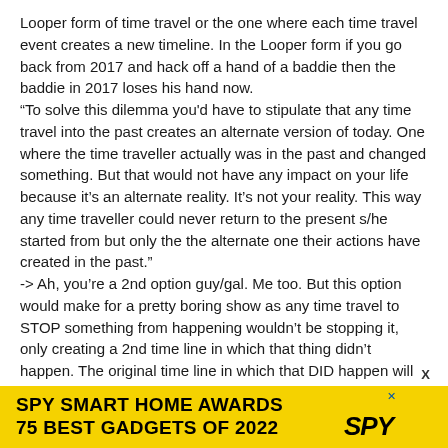Looper form of time travel or the one where each time travel event creates a new timeline. In the Looper form if you go back from 2017 and hack off a hand of a baddie then the baddie in 2017 loses his hand now.
“To solve this dilemma you'd have to stipulate that any time travel into the past creates an alternate version of today. One where the time traveller actually was in the past and changed something. But that would not have any impact on your life because it’s an alternate reality. It’s not your reality. This way any time traveller could never return to the present s/he started from but only the the alternate one their actions have created in the past.”
-> Ah, you’re a 2nd option guy/gal. Me too. But this option would make for a pretty boring show as any time travel to STOP something from happening wouldn’t be stopping it, only creating a 2nd time line in which that thing didn’t happen. The original time line in which that DID happen will still exist, only
[Figure (other): Advertisement banner for SPY Smart Home Awards - 75 Best Gadgets of 2022, yellow background with SPY logo]